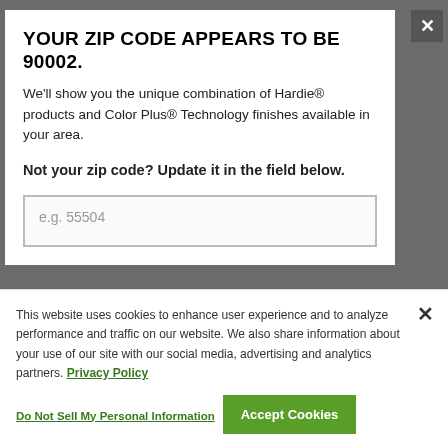YOUR ZIP CODE APPEARS TO BE 90002.
We'll show you the unique combination of Hardie® products and Color Plus® Technology finishes available in your area.
Not your zip code? Update it in the field below.
e.g. 55504
This website uses cookies to enhance user experience and to analyze performance and traffic on our website. We also share information about your use of our site with our social media, advertising and analytics partners. Privacy Policy
Do Not Sell My Personal Information
Accept Cookies